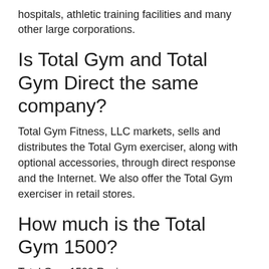hospitals, athletic training facilities and many other large corporations.
Is Total Gym and Total Gym Direct the same company?
Total Gym Fitness, LLC markets, sells and distributes the Total Gym exerciser, along with optional accessories, through direct response and the Internet. We also offer the Total Gym exerciser in retail stores.
How much is the Total Gym 1500?
Total Gym 1500 Review